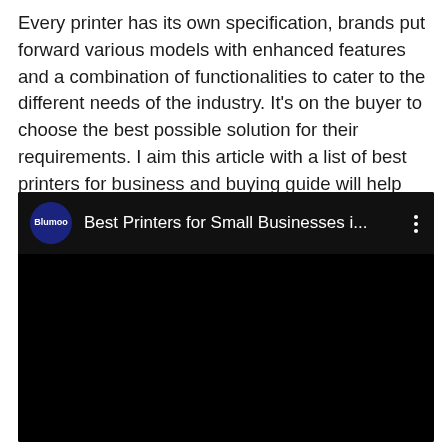Every printer has its own specification, brands put forward various models with enhanced features and a combination of functionalities to cater to the different needs of the industry. It's on the buyer to choose the best possible solution for their requirements. I aim this article with a list of best printers for business and buying guide will help you to narrow down the choices.
[Figure (screenshot): Embedded YouTube-style video player with dark background. Header shows a dark blue circular channel icon labeled 'Blumoo', video title 'Best Printers for Small Businesses i...' in white text, and three-dot menu icon. The video content area is entirely black.]